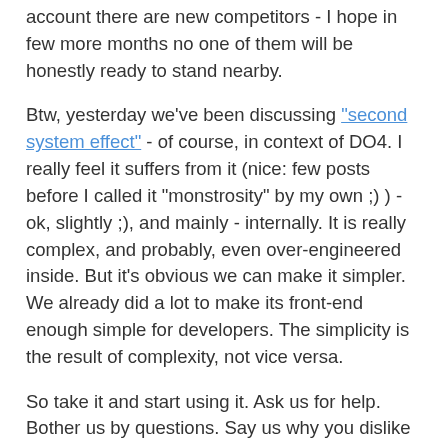account there are new competitors - I hope in few more months no one of them will be honestly ready to stand nearby.
Btw, yesterday we've been discussing "second system effect" - of course, in context of DO4. I really feel it suffers from it (nice: few posts before I called it "monstrosity" by my own ;) ) - ok, slightly ;), and mainly - internally. It is really complex, and probably, even over-engineered inside. But it's obvious we can make it simpler. We already did a lot to make its front-end enough simple for developers. The simplicity is the result of complexity, not vice versa.
So take it and start using it. Ask us for help. Bother us by questions. Say us why you dislike it. Don't pay for it until you'll be fully sure it worths this. Btw, we're preparing a set of promo proposals related to licenses for early adopters - so if you planned to buy it, don't do this right now ;) Finally, write about it. Right now it's the perfect time to start re-making the community around the product.
And... Thanks for all of you, who've been waiting for v4.0